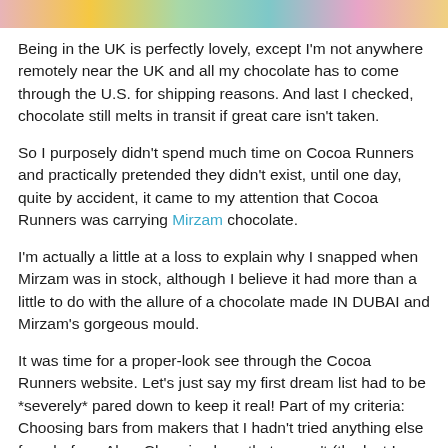[Figure (photo): Colorful image strip at top of page showing various chocolate bars or products]
Being in the UK is perfectly lovely, except I'm not anywhere remotely near the UK and all my chocolate has to come through the U.S. for shipping reasons. And last I checked, chocolate still melts in transit if great care isn't taken.
So I purposely didn't spend much time on Cocoa Runners and practically pretended they didn't exist, until one day, quite by accident, it came to my attention that Cocoa Runners was carrying Mirzam chocolate.
I'm actually a little at a loss to explain why I snapped when Mirzam was in stock, although I believe it had more than a little to do with the allure of a chocolate made IN DUBAI and Mirzam's gorgeous mould.
It was time for a proper-look see through the Cocoa Runners website. Let's just say my first dream list had to be *severely* pared down to keep it real! Part of my criteria: Choosing bars from makers that I hadn't tried anything else from before. Also: Choosing bars that weren't (the last I knew) available on the other U.S. sites I purchase from (more on those in a later post).